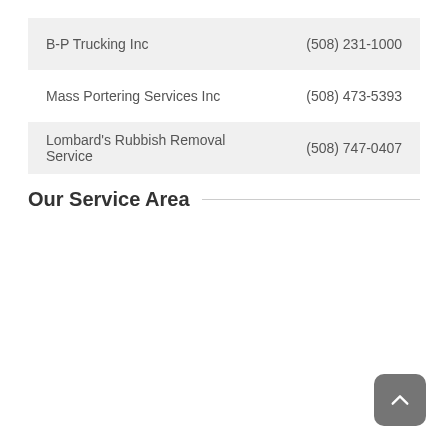| Name | Phone |
| --- | --- |
| B-P Trucking Inc | (508) 231-1000 |
| Mass Portering Services Inc | (508) 473-5393 |
| Lombard's Rubbish Removal Service | (508) 747-0407 |
Our Service Area